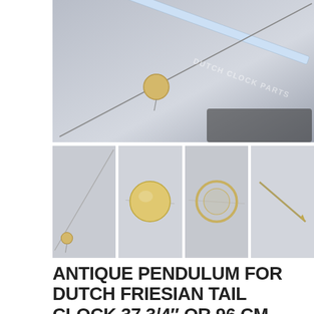[Figure (photo): Main photo of an antique pendulum rod with a round brass bob, laid diagonally across a measuring ruler on a light gray background. A watermark reads 'DUTCH CLOCK PARTS'.]
[Figure (photo): Thumbnail 1: pendulum rod shown diagonally on gray background, small bob visible at lower left.]
[Figure (photo): Thumbnail 2: close-up of the round brass/golden pendulum bob from front.]
[Figure (photo): Thumbnail 3: pendulum bob shown as a circular disc/ring from the front.]
[Figure (photo): Thumbnail 4: pendulum rod tip/needle shown diagonally on light background.]
ANTIQUE PENDULUM FOR DUTCH FRIESIAN TAIL CLOCK 37 3/4" OR 96 CM
$80.00